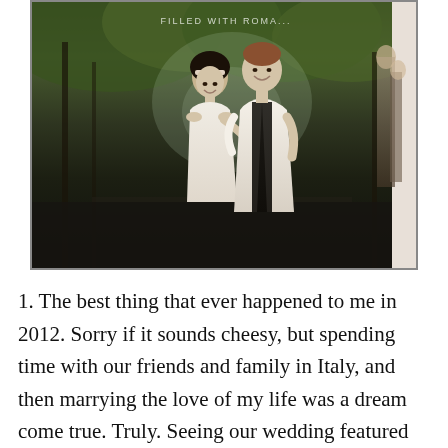[Figure (photo): A couple standing back-to-back in a romantic outdoor setting. A woman with dark hair in a white dress and a man in a dark vest and white shirt, both smiling. Lush green foliage in background. Text overlay reads 'FILLED WITH ROMA...' at top. Photo displayed with a white frame on the right side.]
1. The best thing that ever happened to me in 2012. Sorry if it sounds cheesy, but spending time with our friends and family in Italy, and then marrying the love of my life was a dream come true. Truly. Seeing our wedding featured in the pages of Wedding Bells